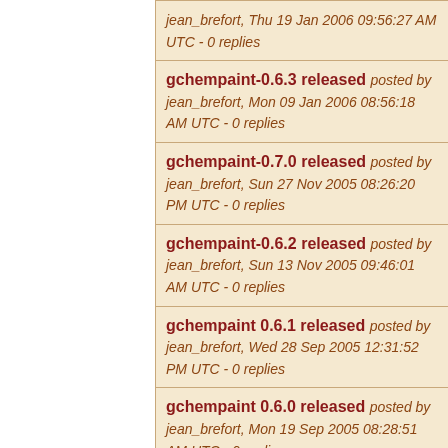jean_brefort, Thu 19 Jan 2006 09:56:27 AM UTC - 0 replies
gchempaint-0.6.3 released posted by jean_brefort, Mon 09 Jan 2006 08:56:18 AM UTC - 0 replies
gchempaint-0.7.0 released posted by jean_brefort, Sun 27 Nov 2005 08:26:20 PM UTC - 0 replies
gchempaint-0.6.2 released posted by jean_brefort, Sun 13 Nov 2005 09:46:01 AM UTC - 0 replies
gchempaint 0.6.1 released posted by jean_brefort, Wed 28 Sep 2005 12:31:52 PM UTC - 0 replies
gchempaint 0.6.0 released posted by jean_brefort, Mon 19 Sep 2005 08:28:51 AM UTC - 0 replies
gchempaint-0.5.91 (0.6.0beta2) released. posted by jean_brefort, Mon 12 Sep 2005 03:32:32 PM UTC - 0 replies
gchempaint-0.5.90 (0.6.0beta1) released posted by jean_brefort, Sun 04 Sep 2005 02:03:38 PM UTC - 0 replies
gchempaint-0.5.6 released posted by jean_brefort, Sat 20 Aug 2005 09:00:10 AM UTC